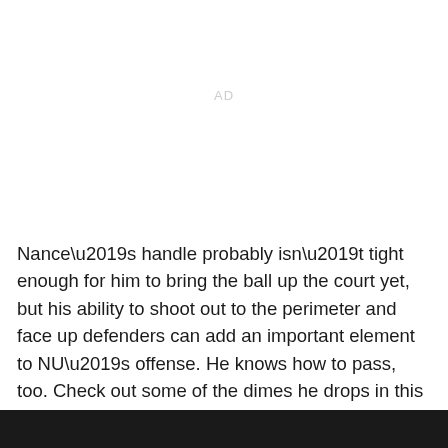AD
Nance’s handle probably isn’t tight enough for him to bring the ball up the court yet, but his ability to shoot out to the perimeter and face up defenders can add an important element to NU’s offense. He knows how to pass, too. Check out some of the dimes he drops in this highlight video from the summer.
[Figure (photo): Dark photo strip at bottom of page, showing partial image of people]